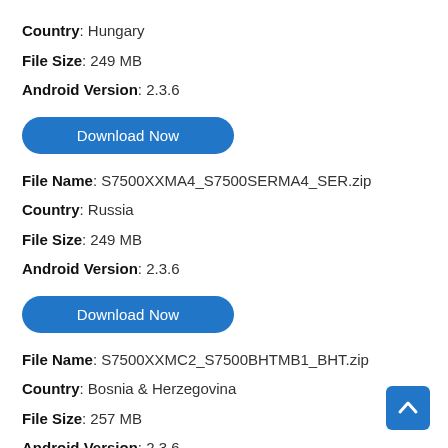Country: Hungary
File Size: 249 MB
Android Version: 2.3.6
[Figure (other): Download Now button (rounded blue pill button)]
File Name: S7500XXMA4_S7500SERMA4_SER.zip
Country: Russia
File Size: 249 MB
Android Version: 2.3.6
[Figure (other): Download Now button (rounded blue pill button)]
File Name: S7500XXMC2_S7500BHTMB1_BHT.zip
Country: Bosnia & Herzegovina
File Size: 257 MB
Android Version: 2.3.6
[Figure (other): Partially visible Download Now button (rounded blue pill button) at bottom of page]
[Figure (other): Back to top button (blue square with upward chevron arrow), bottom right corner]